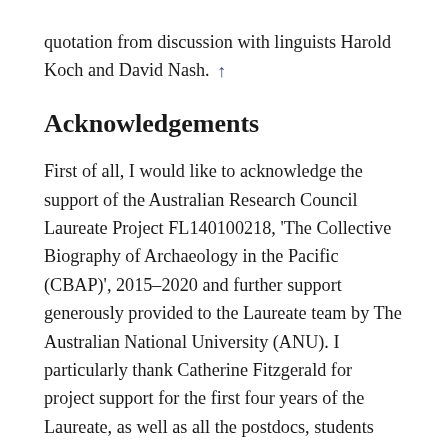quotation from discussion with linguists Harold Koch and David Nash. ↑
Acknowledgements
First of all, I would like to acknowledge the support of the Australian Research Council Laureate Project FL140100218, 'The Collective Biography of Archaeology in the Pacific (CBAP)', 2015–2020 and further support generously provided to the Laureate team by The Australian National University (ANU). I particularly thank Catherine Fitzgerald for project support for the first four years of the Laureate, as well as all the postdocs, students and adjuncts. Lea Gardam, Archivist at the South Australian Museum, has also been particularly helpful. Stephanie Moser generously